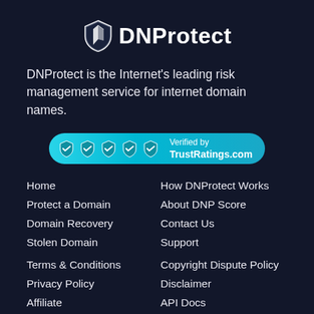[Figure (logo): DNProtect logo with shield icon and text 'DNProtect']
DNProtect is the Internet's leading risk management service for internet domain names.
[Figure (infographic): TrustRatings.com verified badge with 5 checkmark shields and text 'Verified by TrustRatings.com']
Home
How DNProtect Works
Protect a Domain
About DNP Score
Domain Recovery
Contact Us
Stolen Domain
Support
Terms & Conditions
Copyright Dispute Policy
Privacy Policy
Disclaimer
Affiliate
API Docs